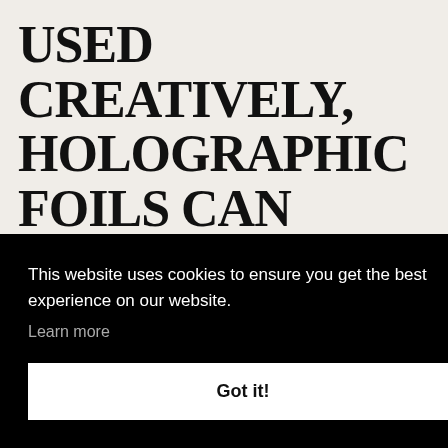USED CREATIVELY, HOLOGRAPHIC FOILS CAN PRODUCE STRONG AND DISTINCTIVE RESULTS
This website uses cookies to ensure you get the best experience on our website.
Learn more
Got it!